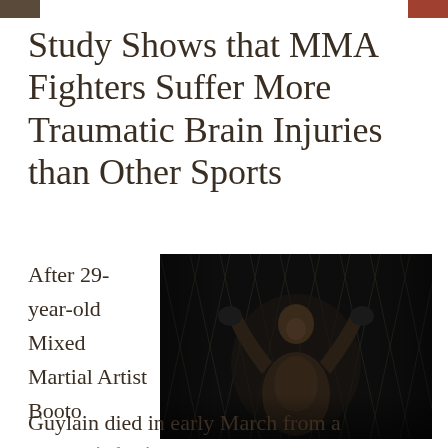Study Shows that MMA Fighters Suffer More Traumatic Brain Injuries than Other Sports
After 29-year-old Mixed Martial Artist Booto
[Figure (photo): A shirtless MMA fighter gripping a chain-link fence/cage, wearing black MMA gloves, photographed dramatically against a dark background.]
Guylain died in early March from a traumatic brain